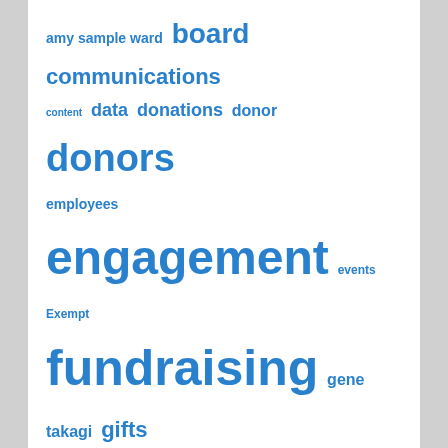[Figure (infographic): Tag cloud with words related to nonprofit, fundraising, technology, etc. in various sizes in blue bold text. Terms include: amy sample ward, board, communications, content, data, donations, donor, donors, employees, engagement, events, Exempt, fundraising, gene takagi, gifts, giving, goals, group, impact, Law, leadership, management, maria semple, marketing, media, mission, network, nonprofit, nten, online, Organizations, philanthropy, prospect, relationships, research, resources, social, stories, storytelling, strategies, strategy, technology, tools, training, volunteers]
Copyright © 2010-2022 Tony Martignetti